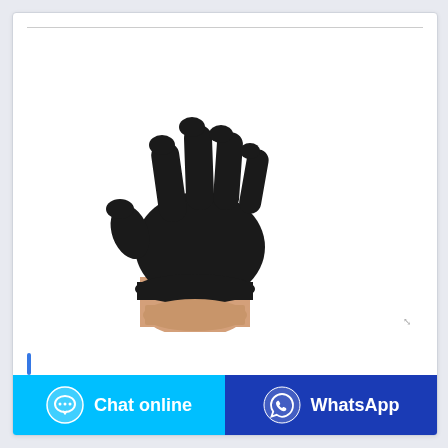[Figure (photo): A hand wearing a black nitrile examination glove, fingers spread upward, shown against a white background.]
Luvas De Exame Sem Pó
[Figure (other): Chat online button with speech bubble icon, cyan background]
[Figure (other): WhatsApp button with WhatsApp logo icon, dark blue background]